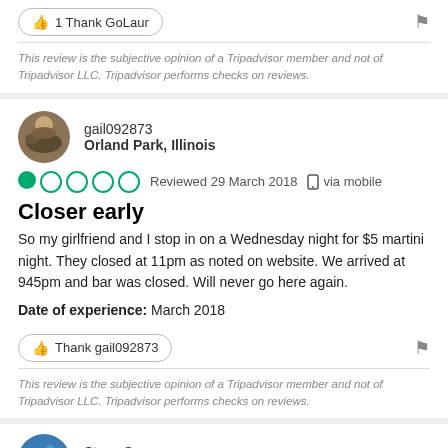1 Thank GoLaur
This review is the subjective opinion of a Tripadvisor member and not of Tripadvisor LLC. Tripadvisor performs checks on reviews.
gail092873
Orland Park, Illinois
Reviewed 29 March 2018  via mobile
Closer early
So my girlfriend and I stop in on a Wednesday night for $5 martini night. They closed at 11pm as noted on website. We arrived at 945pm and bar was closed. Will never go here again.
Date of experience: March 2018
Thank gail092873
This review is the subjective opinion of a Tripadvisor member and not of Tripadvisor LLC. Tripadvisor performs checks on reviews.
Steve S
Mokena, Illinois